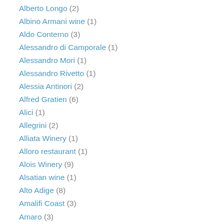Alberto Longo (2)
Albino Armani wine (1)
Aldo Conterno (3)
Alessandro di Camporale (1)
Alessandro Mori (1)
Alessandro Rivetto (1)
Alessia Antinori (2)
Alfred Gratien (6)
Alici (1)
Allegrini (2)
Alliata Winery (1)
Alloro restaurant (1)
Alois Winery (9)
Alsatian wine (1)
Alto Adige (8)
Amalifi Coast (3)
Amaro (3)
Amarone (25)
Amativo Cantele (1)
Amatriciana (3)